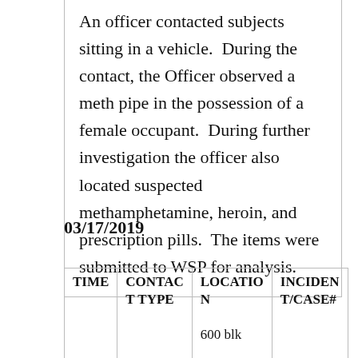An officer contacted subjects sitting in a vehicle.  During the contact, the Officer observed a meth pipe in the possession of a female occupant.  During further investigation the officer also located suspected methamphetamine, heroin, and prescription pills.  The items were submitted to WSP for analysis.
03/17/2019
| TIME | CONTACT TYPE | LOCATION | INCIDENT/CASE# |
| --- | --- | --- | --- |
|  |  | 600 blk |  |